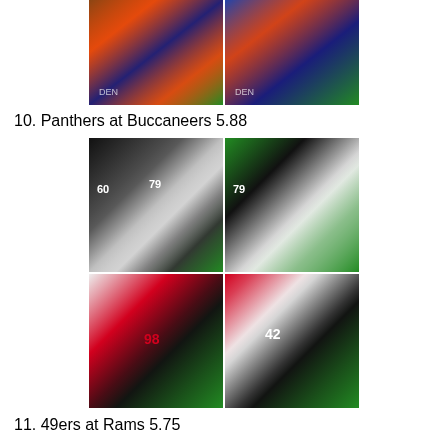[Figure (photo): Two NFL game action photos side by side: Kansas City Chiefs vs Denver Broncos game play scenes]
10. Panthers at Buccaneers 5.88
[Figure (photo): Four NFL game action photos in a 2x2 grid: Carolina Panthers at Tampa Bay Buccaneers game play scenes, players numbered 60, 79, 79, 42, 98]
11. 49ers at Rams 5.75